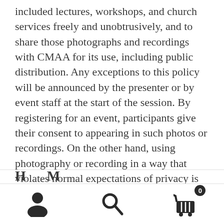included lectures, workshops, and church services freely and unobtrusively, and to share those photographs and recordings with CMAA for its use, including public distribution. Any exceptions to this policy will be announced by the presenter or by event staff at the start of the session. By registering for an event, participants give their consent to appearing in such photos or recordings. On the other hand, using photography or recording in a way that violates normal expectations of privacy is not permitted. Also, rehearsals may not be recorded without prior permission of the instructor.
[Figure (infographic): Mobile navigation bar with three icons: user/account icon on the left, search magnifying glass icon in the center, and shopping cart icon with badge showing '0' on the right.]